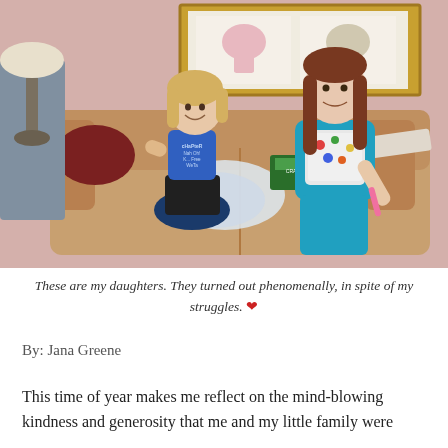[Figure (photo): Two girls sitting on a tan/brown sofa in a pink room. On the left, a younger girl in a blue tank top and black shorts, smiling. On the right, an older girl in a teal blue hoodie and pants, holding a long cardboard item. Bags and school supplies are on the couch between them. A gold-framed artwork hangs on the pink wall behind them, and a lamp is visible at the left edge.]
These are my daughters. They turned out phenomenally, in spite of my struggles. ❤
By: Jana Greene
This time of year makes me reflect on the mind-blowing kindness and generosity that me and my little family were